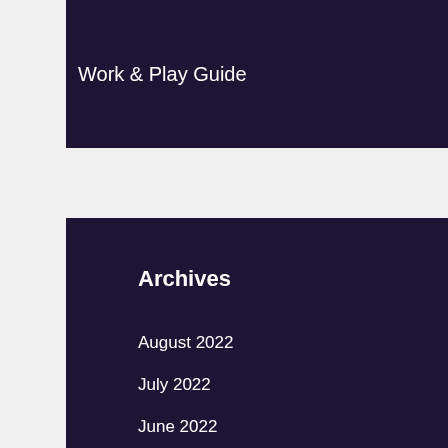Work & Play Guide
Archives
August 2022
July 2022
June 2022
May 2022
April 2022
March 2022
February 2022
January 2022